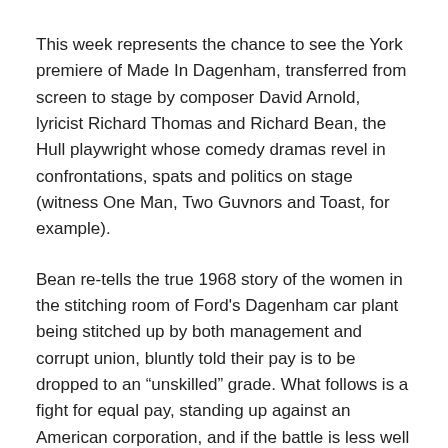This week represents the chance to see the York premiere of Made In Dagenham, transferred from screen to stage by composer David Arnold, lyricist Richard Thomas and Richard Bean, the Hull playwright whose comedy dramas revel in confrontations, spats and politics on stage (witness One Man, Two Guvnors and Toast, for example).
Bean re-tells the true 1968 story of the women in the stitching room of Ford's Dagenham car plant being stitched up by both management and corrupt union, bluntly told their pay is to be dropped to an “unskilled” grade. What follows is a fight for equal pay, standing up against an American corporation, and if the battle is less well known than the Suffragette movement of the 1900s, it is a women's rights landmark nonetheless.